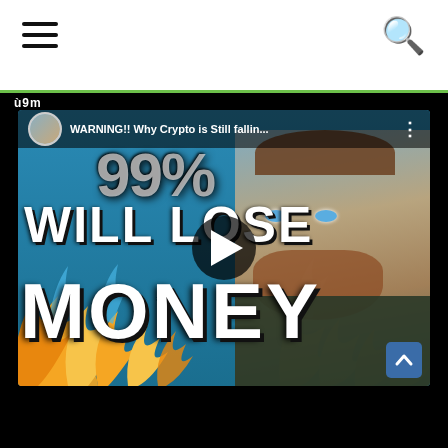Navigation header with hamburger menu and search icon
[Figure (screenshot): YouTube video thumbnail showing a man with a beard and blue eyes on the right side, flames in the background, with bold white text reading '99% WILL LOSE MONEY' and video title bar at top reading 'WARNING!! Why Crypto is Still fallin...' with a play button overlay. A scroll-up button is visible in the bottom right corner of the thumbnail.]